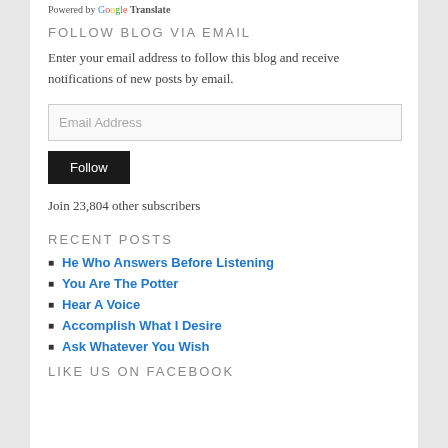Powered by Google Translate
FOLLOW BLOG VIA EMAIL
Enter your email address to follow this blog and receive notifications of new posts by email.
Email Address
Follow
Join 23,804 other subscribers
RECENT POSTS
He Who Answers Before Listening
You Are The Potter
Hear A Voice
Accomplish What I Desire
Ask Whatever You Wish
LIKE US ON FACEBOOK